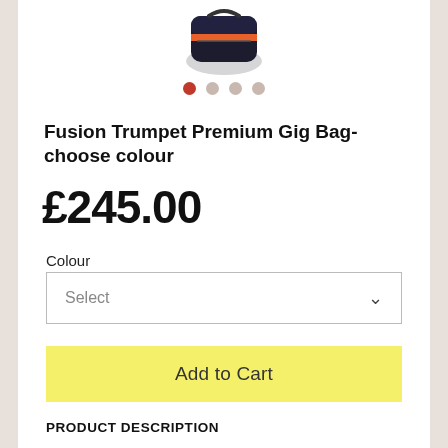[Figure (photo): Partial view of a black and orange gig bag (trumpet case) shown from above, cropped at top of page]
[Figure (other): Four pagination dots: first dot is dark red/active, remaining three are light pinkish-grey/inactive]
Fusion Trumpet Premium Gig Bag- choose colour
£245.00
Colour
Select
Add to Cart
PRODUCT DESCRIPTION